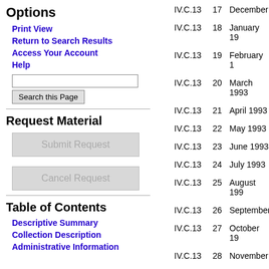Options
Print View
Return to Search Results
Access Your Account
Help
Request Material
Table of Contents
Descriptive Summary
Collection Description
Administrative Information
| Code | Number | Date |
| --- | --- | --- |
| IV.C.13 | 17 | December |
| IV.C.13 | 18 | January 19 |
| IV.C.13 | 19 | February 1 |
| IV.C.13 | 20 | March 1993 |
| IV.C.13 | 21 | April 1993 |
| IV.C.13 | 22 | May 1993 |
| IV.C.13 | 23 | June 1993 |
| IV.C.13 | 24 | July 1993 |
| IV.C.13 | 25 | August 199 |
| IV.C.13 | 26 | September |
| IV.C.13 | 27 | October 19 |
| IV.C.13 | 28 | November |
| IV.C.13 | 29 | December |
| IV.C.13 | 30 | January 19 |
| IV.C.13 | 31 | February 1 |